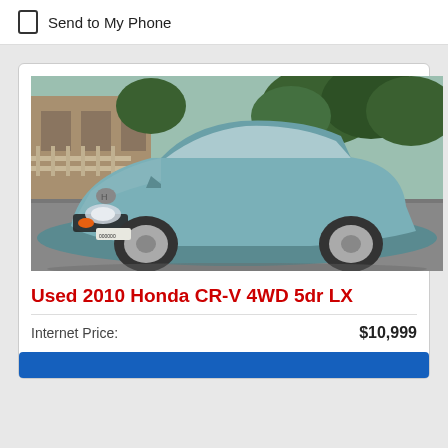Send to My Phone
[Figure (photo): Photo of a used 2010 Honda CR-V 4WD 5dr LX in light blue/teal color, parked in a lot with trees and a building in the background.]
Used 2010 Honda CR-V 4WD 5dr LX
Internet Price: $10,999